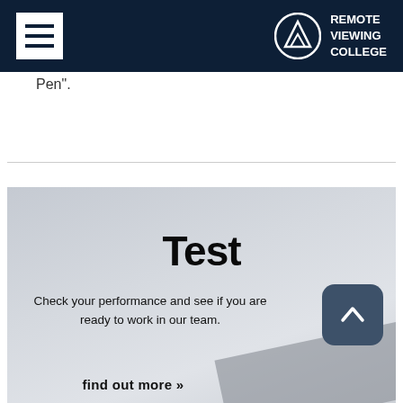Remote Viewing College
Pen".
[Figure (screenshot): Test banner image with light gray background, showing the title 'Test', subtitle 'Check your performance and see if you are ready to work in our team.', a dark blue rounded square button with chevron-up icon, and 'find out more »' link at the bottom.]